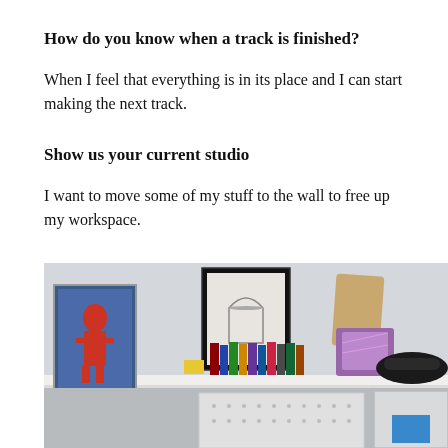How do you know when a track is finished?
When I feel that everything is in its place and I can start making the next track.
Show us your current studio
I want to move some of my stuff to the wall to free up my workspace.
[Figure (photo): Photo of a white wall shelf with framed art, books, and various objects. Below the shelf is another surface with more items.]